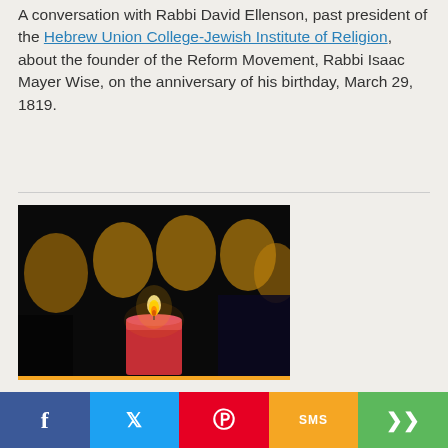A conversation with Rabbi David Ellenson, past president of the Hebrew Union College-Jewish Institute of Religion, about the founder of the Reform Movement, Rabbi Isaac Mayer Wise, on the anniversary of his birthday, March 29, 1819.
[Figure (photo): A lit red candle with a warm flame against a dark background, with several blurred yellow/golden bokeh circles in the background suggesting other candles or lights.]
Social share bar with Facebook, Twitter, Pinterest, SMS, and Share buttons